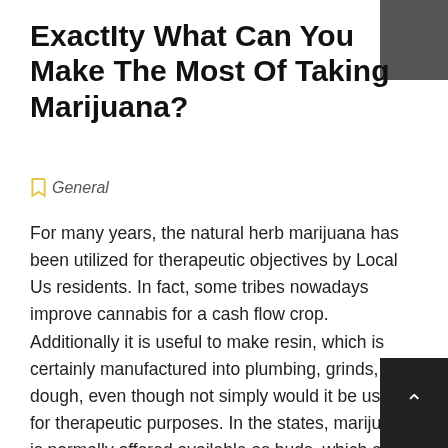ExactIty What Can You Make The Most Of Taking Marijuana?
General
For many years, the natural herb marijuana has been utilized for therapeutic objectives by Local Us residents. In fact, some tribes nowadays improve cannabis for a cash flow crop. Additionally it is useful to make resin, which is certainly manufactured into plumbing, grinds, and dough, even though not simply would it be useful for therapeutic purposes. In the states, marijuana is normally offered available as buds, which are usually about 5 ins large and include in between 1 and 3 small seeds. The bud has an alkaloid termed THC or tetrahydrocannabinol, the key component in cannabis. There are